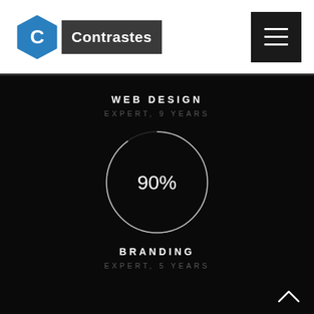[Figure (logo): Contrastes logo with hexagon icon and dark text box]
[Figure (other): Hamburger menu button (three horizontal lines on dark background)]
WEB DESIGN
EXPERT, 9 YEARS
[Figure (donut-chart): Web Design skill level]
BRANDING
EXPERT, 5 YEARS